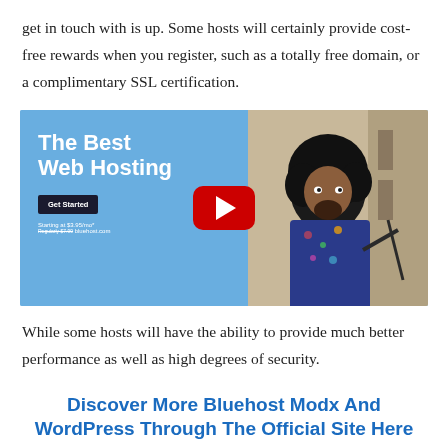get in touch with is up. Some hosts will certainly provide cost-free rewards when you register, such as a totally free domain, or a complimentary SSL certification.
[Figure (screenshot): A YouTube video thumbnail showing a web hosting advertisement. Left side has blue background with white bold text 'The Best Web Hosting', a dark 'Get Started' button, pricing starting at $3.95/mo, and a bullet list of features including FREE domain, FREE SSL Certificate, 1 Click WordPress Install, 24/7 Support. Center shows a red YouTube play button. Right side shows a man with an afro wearing a floral shirt.]
While some hosts will have the ability to provide much better performance as well as high degrees of security.
Discover More Bluehost Modx And WordPress Through The Official Site Here